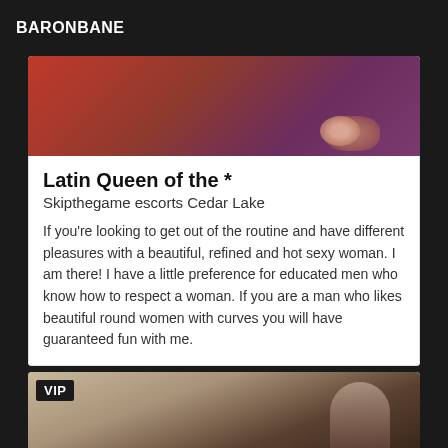BARONBANE
[Figure (photo): Close-up photo with red and dark tones, partially visible hands]
Latin Queen of the *
Skipthegame escorts Cedar Lake
If you're looking to get out of the routine and have different pleasures with a beautiful, refined and hot sexy woman. I am there! I have a little preference for educated men who know how to respect a woman. If you are a man who likes beautiful round women with curves you will have guaranteed fun with me.
[Figure (photo): Dark-toned photo with VIP badge overlay, partially visible figure in dark clothing]